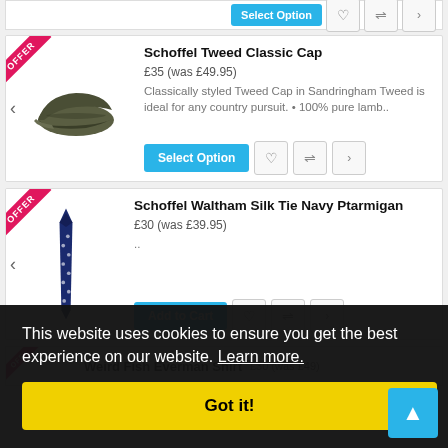[Figure (screenshot): Partial product card with Select Option button and icon buttons visible at top]
Schoffel Tweed Classic Cap
£35 (was £49.95)
Classically styled Tweed Cap in Sandringham Tweed is ideal for any country pursuit. • 100% pure lamb..
Schoffel Waltham Silk Tie Navy Ptarmigan
£30 (was £39.95)
..
This website uses cookies to ensure you get the best experience on our website. Learn more.
Got it!
Weird Fish Everman Shirt